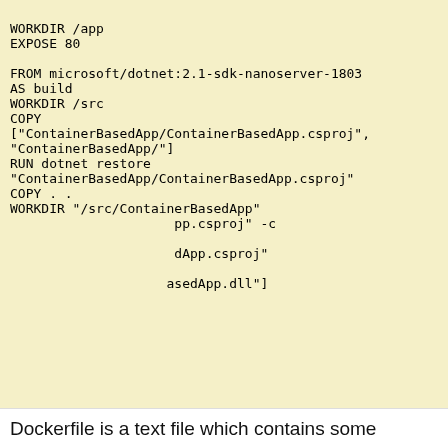WORKDIR /app
EXPOSE 80

FROM microsoft/dotnet:2.1-sdk-nanoserver-1803
AS build
WORKDIR /src
COPY
["ContainerBasedApp/ContainerBasedApp.csproj",
"ContainerBasedApp/"]
RUN dotnet restore
"ContainerBasedApp/ContainerBasedApp.csproj"
COPY . .
WORKDIR "/src/ContainerBasedApp"
...pp.csproj" -c
...
...dApp.csproj"
...
...asedApp.dll"]
[Figure (other): Cookie consent banner overlay with orange background. Text: 'Like every other website we use cookies. By using our site you acknowledge that you have read and understand our Cookie Policy, Privacy Policy, and our Terms of Service. Learn more'. Buttons: 'Ask me later', 'Decline', 'Allow cookies'.]
Dockerfile is a text file which contains some